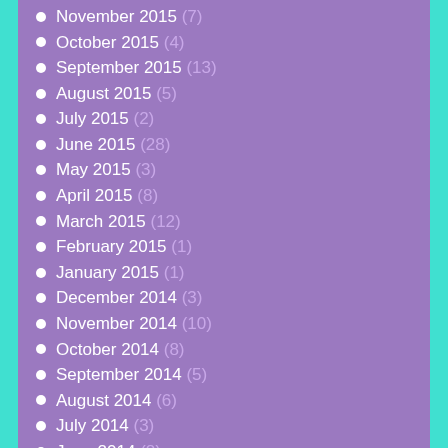November 2015 (7)
October 2015 (4)
September 2015 (13)
August 2015 (5)
July 2015 (2)
June 2015 (28)
May 2015 (3)
April 2015 (8)
March 2015 (12)
February 2015 (1)
January 2015 (1)
December 2014 (3)
November 2014 (10)
October 2014 (8)
September 2014 (5)
August 2014 (6)
July 2014 (3)
June 2014 (8)
May 2014 (9)
April 2014 (4)
March 2014 (2)
February 2014 (2)
January 2014 (9)